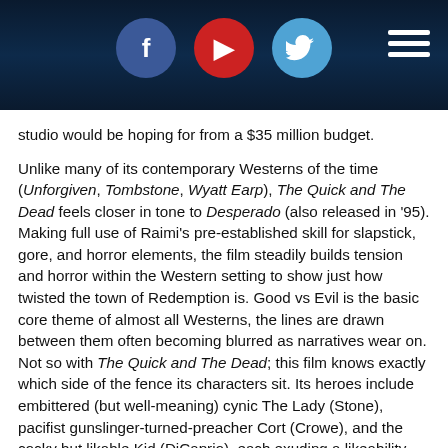[Figure (screenshot): Website header bar with dark blue background featuring social media icons (Facebook, YouTube, Twitter) and a hamburger menu icon on the right.]
studio would be hoping for from a $35 million budget.

Unlike many of its contemporary Westerns of the time (Unforgiven, Tombstone, Wyatt Earp), The Quick and The Dead feels closer in tone to Desperado (also released in '95). Making full use of Raimi's pre-established skill for slapstick, gore, and horror elements, the film steadily builds tension and horror within the Western setting to show just how twisted the town of Redemption is. Good vs Evil is the basic core theme of almost all Westerns, the lines are drawn between them often becoming blurred as narratives wear on. Not so with The Quick and The Dead; this film knows exactly which side of the fence its characters sit. Its heroes include embittered (but well-meaning) cynic The Lady (Stone), pacifist gunslinger-turned-preacher Cort (Crowe), and the cocky but likable Kid (DiCaprio), each exuding a likeability that puts them firmly on the side of Good. On the other, we have violent convict Scars (Mark Boone Junior), rapist Eugene Dred (Kevin Conway), and town big bad John Herod (Gene Hackman). As a veteran of 90s Westerns at this point (having most recently filmed Unforgiven in '92 and Wyatt